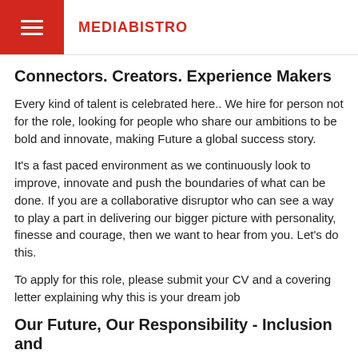MEDIABISTRO
Connectors. Creators. Experience Makers
Every kind of talent is celebrated here.. We hire for person not for the role, looking for people who share our ambitions to be bold and innovate, making Future a global success story.
It's a fast paced environment as we continuously look to improve, innovate and push the boundaries of what can be done. If you are a collaborative disruptor who can see a way to play a part in delivering our bigger picture with personality, finesse and courage, then we want to hear from you. Let's do this.
To apply for this role, please submit your CV and a covering letter explaining why this is your dream job
Our Future, Our Responsibility - Inclusion and